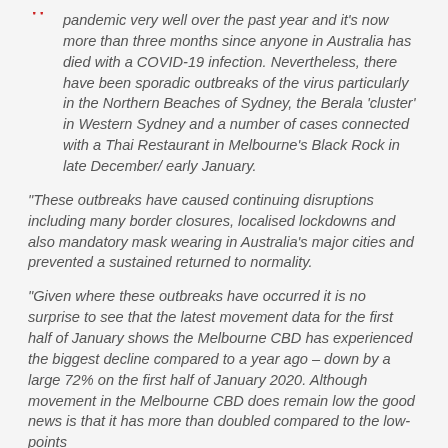pandemic very well over the past year and it's now more than three months since anyone in Australia has died with a COVID-19 infection. Nevertheless, there have been sporadic outbreaks of the virus particularly in the Northern Beaches of Sydney, the Berala 'cluster' in Western Sydney and a number of cases connected with a Thai Restaurant in Melbourne's Black Rock in late December/ early January.
"These outbreaks have caused continuing disruptions including many border closures, localised lockdowns and also mandatory mask wearing in Australia's major cities and prevented a sustained returned to normality.
"Given where these outbreaks have occurred it is no surprise to see that the latest movement data for the first half of January shows the Melbourne CBD has experienced the biggest decline compared to a year ago – down by a large 72% on the first half of January 2020. Although movement in the Melbourne CBD does remain low the good news is that it has more than doubled compared to the low-points